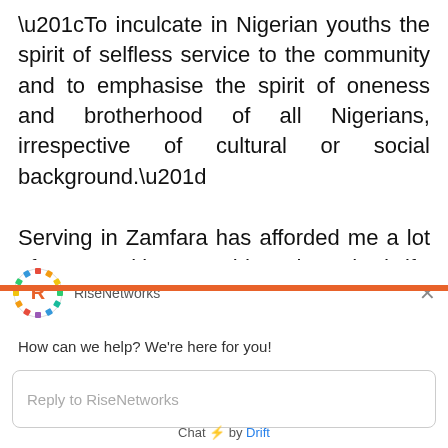“To inculcate in Nigerian youths the spirit of selfless service to the community and to emphasise the spirit of oneness and brotherhood of all Nigerians, irrespective of cultural or social background.”

Serving in Zamfara has afforded me a lot of opportunities I would not have had if I remained down South in the
[Figure (screenshot): RiseNetworks chat widget overlay with logo, brand name, close button, greeting message, reply text box, and 'Chat by Drift' footer]